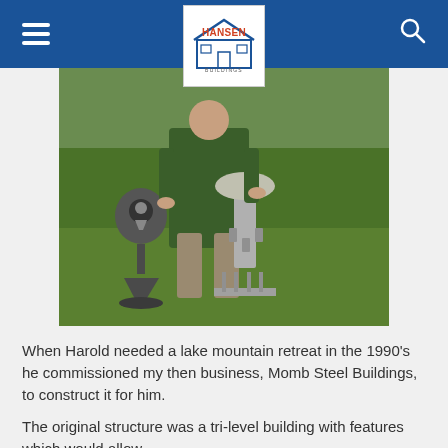Hansen Buildings
[Figure (photo): A person standing outdoors on a lawn, displaying two metal sculptures. The left sculpture resembles a keyhole shape on a pedestal. The right sculpture is a tall metallic structure with vertical elements.]
When Harold needed a lake mountain retreat in the 1990's he commissioned my then business, Momb Steel Buildings, to construct it for him.
The original structure was a tri-level building with features which would allow